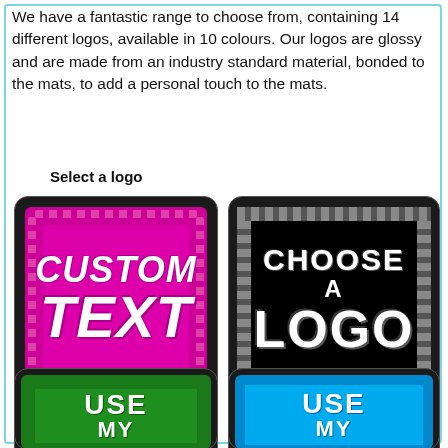We have a fantastic range to choose from, containing 14 different logos, available in 10 colours. Our logos are glossy and are made from an industry standard material, bonded to the mats, to add a personal touch to the mats.
Select a logo
[Figure (illustration): Custom Text logo mat option card with magenta/pink background showing 'CUSTOM TEXT' in white italic bold letters, priced at £10.21]
[Figure (illustration): Choose A Logo gallery card with dark/black background showing 'CHOOSE A LOGO' in white bold letters with grey border pattern, priced at £10.21]
[Figure (illustration): Use My (own logo) option card with green background showing 'USE MY' in white bold letters, partially visible]
[Figure (illustration): Use My (own logo) option card with blue/cyan background showing 'USE MY' in white bold letters, partially visible]